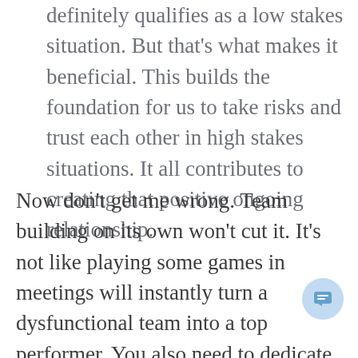definitely qualifies as a low stakes situation. But that’s what makes it beneficial. This builds the foundation for us to take risks and trust each other in high stakes situations. It all contributes to creating that positive ongoing relationship.
Now don’t get me wrong. Team building on its own won’t cut it. It’s not like playing some games in meetings will instantly turn a dysfunctional team into a top performer. You also need to dedicate time to regular 1:1 meetings with your direct reports. And if you want to foster a culture of transparency and collaboration, you should share your tasks and